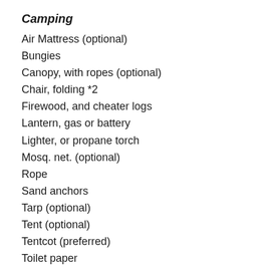Camping
Air Mattress (optional)
Bungies
Canopy, with ropes (optional)
Chair, folding *2
Firewood, and cheater logs
Lantern, gas or battery
Lighter, or propane torch
Mosq. net. (optional)
Rope
Sand anchors
Tarp (optional)
Tent (optional)
Tentcot (preferred)
Toilet paper
Prtable toilet (optional)